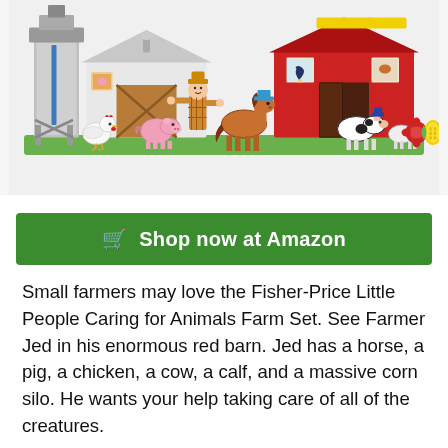[Figure (photo): Product photo of Fisher-Price Little People Caring for Animals Farm Set, showing a red barn, white stable, corn silo, farmer figure (Jed), horse, pig, chicken, cow, calf, and colorful accessories on a green base]
🛒 Shop now at Amazon
Small farmers may love the Fisher-Price Little People Caring for Animals Farm Set. See Farmer Jed in his enormous red barn. Jed has a horse, a pig, a chicken, a cow, a calf, and a massive corn silo. He wants your help taking care of all of the creatures.
All of them need petting, feeding, and also a warm blanket for the chilly nights on the market. Switch the corn silo to hear it pop